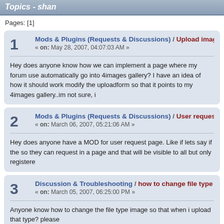Topics - shan
Pages: [1]
1 Mods & Plugins (Requests & Discussions) / Upload image from « on: May 28, 2007, 04:07:03 AM »
Hey does anyone know how we can implement a page where my forum use automatically go into 4images gallery? I have an idea of how it should work modify the uploadform so that it points to my 4images gallery..im not sure, i
2 Mods & Plugins (Requests & Discussions) / User request page « on: March 06, 2007, 05:21:06 AM »
Hey does anyone have a MOD for user request page. Like if lets say if the so they can request in a page and that will be visible to all but only registere
3 Discussion & Troubleshooting / how to change file type images? « on: March 05, 2007, 06:25:00 PM »
Anyone know how to change the file type image so that when i upload that type? please